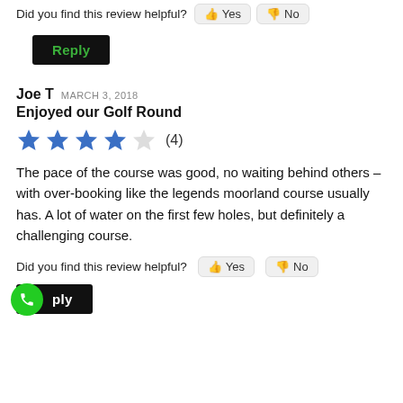Did you find this review helpful? Yes No
Reply
Joe T  MARCH 3, 2018
Enjoyed our Golf Round
[Figure (other): 4 out of 5 stars rating (4)]
The pace of the course was good, no waiting behind others – with over-booking like the legends moorland course usually has. A lot of water on the first few holes, but definitely a challenging course.
Did you find this review helpful? Yes No
Reply